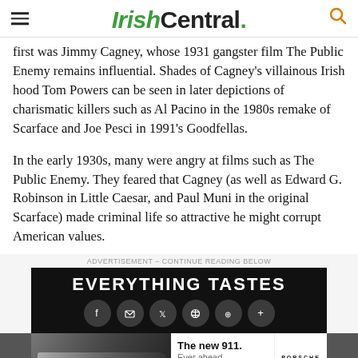IrishCentral.
first was Jimmy Cagney, whose 1931 gangster film The Public Enemy remains influential. Shades of Cagney's villainous Irish hood Tom Powers can be seen in later depictions of charismatic killers such as Al Pacino in the 1980s remake of Scarface and Joe Pesci in 1991's Goodfellas.
In the early 1930s, many were angry at films such as The Public Enemy. They feared that Cagney (as well as Edward G. Robinson in Little Caesar, and Paul Muni in the original Scarface) made criminal life so attractive he might corrupt American values.
[Figure (screenshot): Advertisement banner with dark background showing 'EVERYTHING TASTES' text and social media sharing icons (Facebook, email, Twitter, Pinterest, WhatsApp, plus)]
[Figure (screenshot): Porsche advertisement showing 'The new 911. Ever ahead.' with a car image on the left and Porsche logo on the right, with a LEARN MORE button]